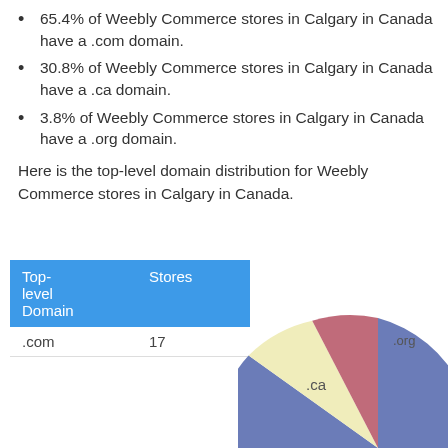65.4% of Weebly Commerce stores in Calgary in Canada have a .com domain.
30.8% of Weebly Commerce stores in Calgary in Canada have a .ca domain.
3.8% of Weebly Commerce stores in Calgary in Canada have a .org domain.
Here is the top-level domain distribution for Weebly Commerce stores in Calgary in Canada.
| Top-level Domain | Stores |
| --- | --- |
| .com | 17 |
[Figure (pie-chart): Top-level domain distribution]